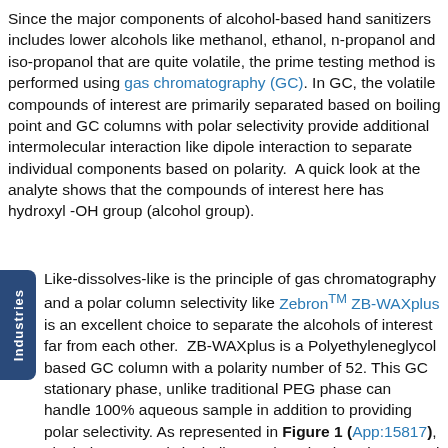Since the major components of alcohol-based hand sanitizers includes lower alcohols like methanol, ethanol, n-propanol and iso-propanol that are quite volatile, the prime testing method is performed using gas chromatography (GC). In GC, the volatile compounds of interest are primarily separated based on boiling point and GC columns with polar selectivity provide additional intermolecular interaction like dipole interaction to separate individual components based on polarity.  A quick look at the analyte shows that the compounds of interest here has hydroxyl -OH group (alcohol group).
Like-dissolves-like is the principle of gas chromatography and a polar column selectivity like Zebron™ ZB-WAXplus is an excellent choice to separate the alcohols of interest far from each other.  ZB-WAXplus is a Polyethyleneglycol based GC column with a polarity number of 52. This GC stationary phase, unlike traditional PEG phase can handle 100% aqueous sample in addition to providing polar selectivity. As represented in Figure 1 (App:15817), alcohol compounds including methanol, ethanol, propanol and butanol are separated within 15 minutes from the aqueous matrix. In addition to the separation, injection to